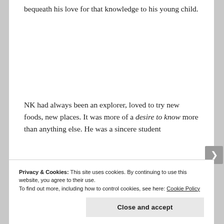bequeath his love for that knowledge to his young child.
NK had always been an explorer, loved to try new foods, new places. It was more of a desire to know more than anything else. He was a sincere student
Privacy & Cookies: This site uses cookies. By continuing to use this website, you agree to their use.
To find out more, including how to control cookies, see here: Cookie Policy